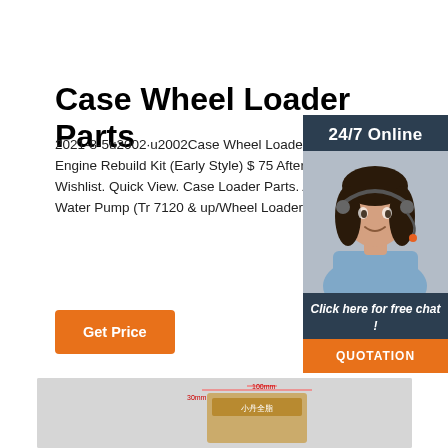Case Wheel Loader Parts
2021-8-5u2002·u2002Case Wheel Loader Parts. Cummins Engine Rebuild Kit (Early Style) $ 75 Aftermarket. Add to Wishlist. Quick View. Case Loader Parts. A77704 – Case Water Pump (Tr 7120 & up/Wheel Loaders) $ 65.00.
[Figure (screenshot): Sidebar widget showing a customer service representative with headset, 24/7 Online label, 'Click here for free chat!' text, and orange QUOTATION button on dark navy background]
[Figure (photo): Bottom partial product image showing what appears to be a packaged part or box with Chinese text and measurement annotations]